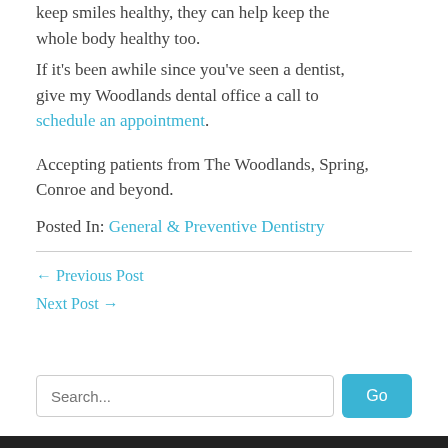keep smiles healthy, they can help keep the whole body healthy too. If it's been awhile since you've seen a dentist, give my Woodlands dental office a call to schedule an appointment.
Accepting patients from The Woodlands, Spring, Conroe and beyond.
Posted In: General & Preventive Dentistry
← Previous Post
Next Post →